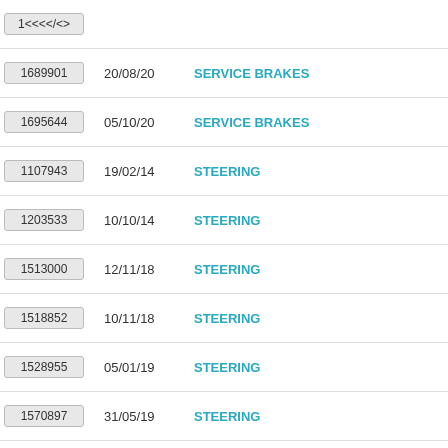| ID | Date | Category |
| --- | --- | --- |
| 1689901 | 20/08/20 | SERVICE BRAKES |
| 1695644 | 05/10/20 | SERVICE BRAKES |
| 1107943 | 19/02/14 | STEERING |
| 1203533 | 10/10/14 | STEERING |
| 1513000 | 12/11/18 | STEERING |
| 1518852 | 10/11/18 | STEERING |
| 1528955 | 05/01/19 | STEERING |
| 1570897 | 31/05/19 | STEERING |
| 1571125 | 08/06/19 | STEERING |
| 1576022 | 24/06/19 | STEERING |
| 1588297 | 13/07/14 | STEERING |